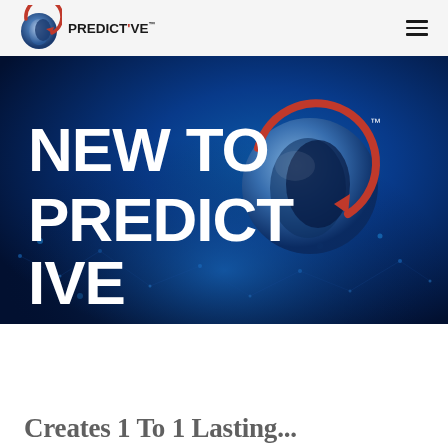PREDICT'VE [logo] ☰
[Figure (screenshot): Hero banner with dark blue network background and large white text reading 'NEW TO PREDICTIVE' with the Predict've logo icon (red arrow arc around a crescent moon shape) and TM mark in upper right]
Creates 1 To 1 Lasting...